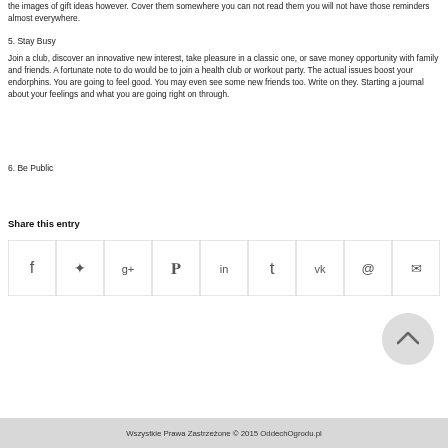the images of gift ideas however. Cover them somewhere you can not read them you will not have those reminders almost everywhere.
5. Stay Busy
Join a club, discover an innovative new interest, take pleasure in a classic one, or save money opportunity with family and friends. A fortunate note to do would be to join a health club or workout party. The actual issues boost your endorphins. You are going to feel good. You may even see some new friends too. Write on they. Starting a journal about your feelings and what you are going right on through.
6. Be Public
Share this entry
[Figure (other): Row of social media share icons: Facebook, Twitter, Google+, Pinterest, LinkedIn, Tumblr, VK, Reddit, Mail]
[Figure (other): Scroll-to-top circular button with up arrow]
Wszystkie Prawa Zastrzeżone © 2015 OddechOgrodu.pl